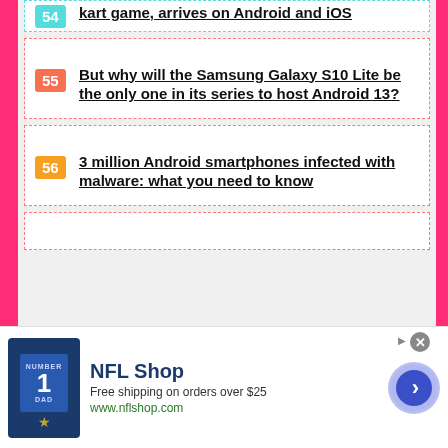54 — kart game, arrives on Android and iOS
55 — But why will the Samsung Galaxy S10 Lite be the only one in its series to host Android 13?
56 — 3 million Android smartphones infected with malware: what you need to know
[Figure (screenshot): Ad banner for NFL Shop. Shows navy jersey with number 1, text 'NFL Shop', 'Free shipping on orders over $25', 'www.nflshop.com', and a blue arrow button. Has a close button.]